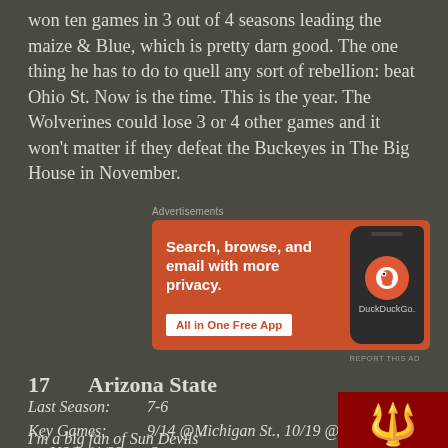won ten games in 3 out of 4 seasons leading the maize & Blue, which is pretty darn good. The one thing he has to do to quell any sort of rebellion: beat Ohio St. Now is the time. This is the year. The Wolverines could lose 3 or 4 other games and it won't matter if they defeat the Buckeyes in The Big House in November.
Advertisements
[Figure (other): DuckDuckGo advertisement banner: orange background with text 'Search, browse, and email with more privacy. All in One Free App' and a dark phone mockup with DuckDuckGo logo on the right.]
REPORT THIS AD
17	Arizona State
Last Season:	7-6
Key Games:	9/14 @Michigan St., 10/19 @Utah, 11/9 vs. USC, 11/23 vs. Oregon
I'm a big fan of Sun Devils'